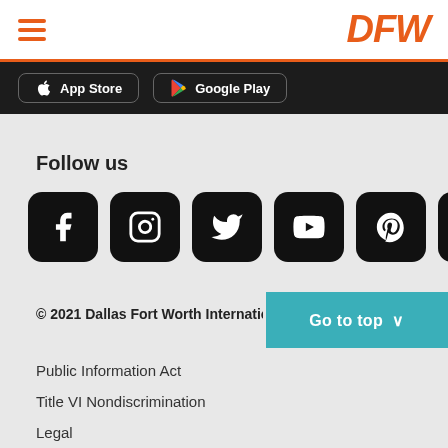[Figure (logo): DFW airport logo in orange with hamburger menu icon]
[Figure (screenshot): App Store and Google Play download buttons on dark background]
Follow us
[Figure (illustration): Social media icons row: Facebook, Instagram, Twitter, YouTube, Pinterest, LinkedIn]
© 2021 Dallas Fort Worth Internation
Go to top ^
Public Information Act
Title VI Nondiscrimination
Legal